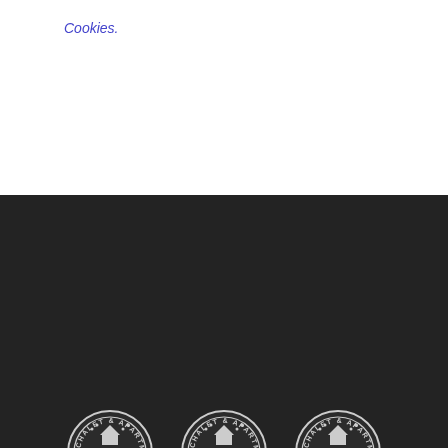Cookies.
[Figure (logo): Three circular badge logos for Chalet & Apartment Rentals: Courchevel (red banner), Méribel (orange banner), Val Thorens (yellow banner)]
Contact us
UK   FR   @